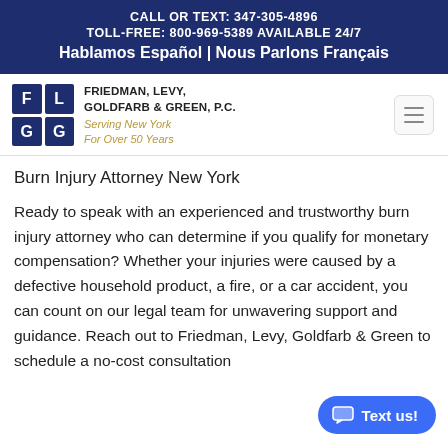CALL OR TEXT: 347-305-4896 TOLL-FREE: 800-969-5389 AVAILABLE 24/7 Hablamos Español | Nous Parlons Français
[Figure (logo): Friedman, Levy, Goldfarb & Green, P.C. law firm logo with FLGG letter grid and tagline Serving New York For Over 50 Years]
Burn Injury Attorney New York
Ready to speak with an experienced and trustworthy burn injury attorney who can determine if you qualify for monetary compensation? Whether your injuries were caused by a defective household product, a fire, or a car accident, you can count on our legal team for unwavering support and guidance. Reach out to Friedman, Levy, Goldfarb & Green to schedule a no-cost consultation